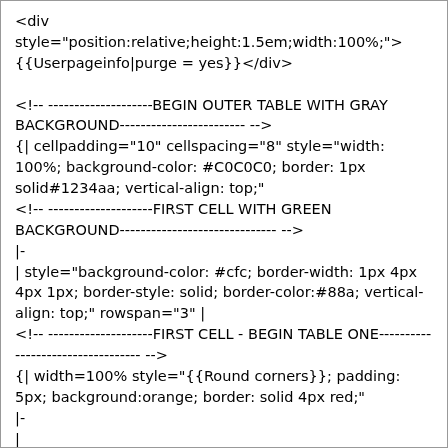<div style="position:relative;height:1.5em;width:100%;">
{{Userpageinfo|purge = yes}}</div>

<!-- --------------------BEGIN OUTER TABLE WITH GRAY BACKGROUND------------------------ -->
{| cellpadding="10" cellspacing="8" style="width: 100%; background-color: #C0C0C0; border: 1px solid#1234aa; vertical-align: top;"
<!-- --------------------FIRST CELL WITH GREEN BACKGROUND------------------------------ -->
|-
| style="background-color: #cfc; border-width: 1px 4px 4px 1px; border-style: solid; border-color:#88a; vertical-align: top;" rowspan="3" |
<!-- --------------------FIRST CELL - BEGIN TABLE ONE---------------------------------- -->
{| width=100% style="{{Round corners}}; padding: 5px; background:orange; border: solid 4px red;"
|-
|
<!-- --------------------FIRST CELL - TABLE ONE - BEGIN NESTED TABLE----------------- -->